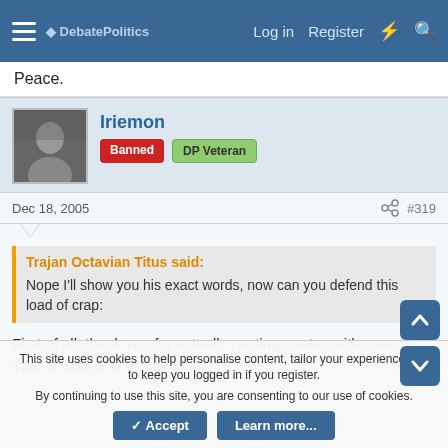DebatePolitics | Log in | Register
Peace.
Iriemon
Banned | DP Veteran
Dec 18, 2005 #319
Trajan Octavian Titus said:
Nope I'll show you his exact words, now can you defend this load of crap:
First of all, thank you for actually posting quotes with sources. That is worthy of respect.
This site uses cookies to help personalise content, tailor your experience and to keep you logged in if you register.
By continuing to use this site, you are consenting to our use of cookies.